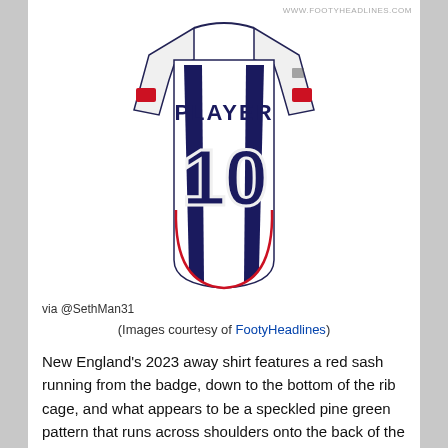[Figure (illustration): Back view of a white football/soccer jersey with navy blue vertical side panels, red trim border, number 10 in navy, PLAYER name on back, and red accent on sleeves. Watermark: WWW.FOOTYHEADLINES.COM]
via @SethMan31
(Images courtesy of FootyHeadlines)
New England's 2023 away shirt features a red sash running from the badge, down to the bottom of the rib cage, and what appears to be a speckled pine green pattern that runs across shoulders onto the back of the shirt. As presented in the